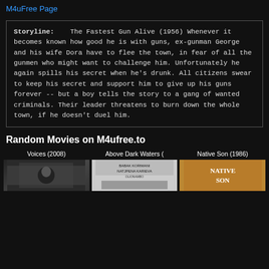M4uFree Page
Storyline: The Fastest Gun Alive (1956) Whenever it becomes known how good he is with guns, ex-gunman George and his wife Dora have to flee the town, in fear of all the gunmen who might want to challenge him. Unfortunately he again spills his secret when he's drunk. All citizens swear to keep his secret and support him to give up his guns forever -- but a boy tells the story to a gang of wanted criminals. Their leader threatens to burn down the whole town, if he doesn't duel him.
Random Movies on M4ufree.to
Voices (2008)
[Figure (photo): Movie thumbnail for Voices (2008), dark gradient background]
Above Dark Waters (
[Figure (photo): Movie thumbnail for Above Dark Waters, light poster with actor names]
Native Son (1986)
[Figure (photo): Movie thumbnail for Native Son (1986), orange/brown background with title text]